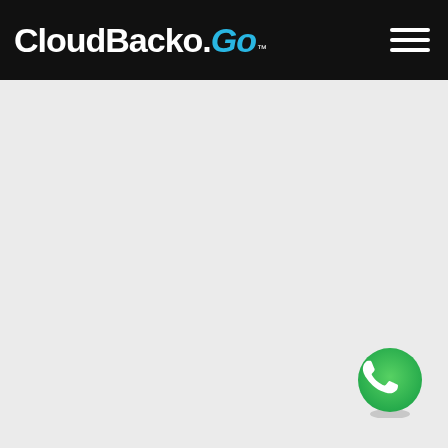[Figure (logo): CloudBacko Go logo in white text with 'Go' in cyan/blue italic, with TM mark, on black navigation bar with hamburger menu icon on the right]
[Figure (logo): WhatsApp icon button — green circle with white phone handset, positioned bottom-right of the page]